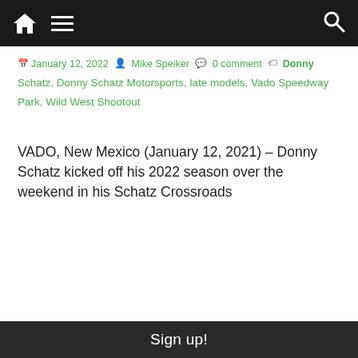Navigation bar with home icon, menu icon, and search icon
January 12, 2022  Mike Speiker  0 comment  Donny Schatz, Donny Schatz Motorsports, late models, Vado Speedway Park, Wild West Shootout
VADO, New Mexico (January 12, 2021) – Donny Schatz kicked off his 2022 season over the weekend in his Schatz Crossroads
Read more
[Figure (photo): Close-up photo of a racing late model car with cherry/Sage branding, colorful decals on a white body with blue and red accents]
Sign up!